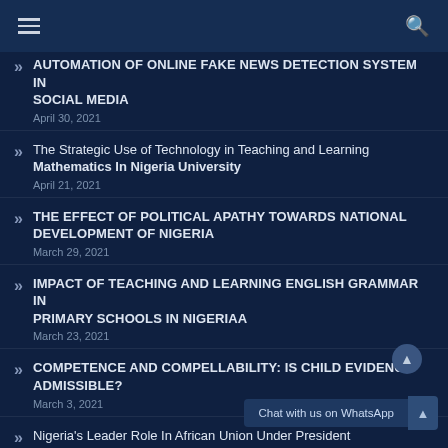Menu | Search
AUTOMATION OF ONLINE FAKE NEWS DETECTION SYSTEM IN SOCIAL MEDIA
April 30, 2021
The Strategic Use of Technology in Teaching and Learning Mathematics In Nigeria University
April 21, 2021
THE EFFECT OF POLITICAL APATHY TOWARDS NATIONAL DEVELOPMENT OF NIGERIA
March 29, 2021
IMPACT OF TEACHING AND LEARNING ENGLISH GRAMMAR IN PRIMARY SCHOOLS IN NIGERIAA
March 23, 2021
COMPETENCE AND COMPELLABILITY: IS CHILD EVIDENCE ADMISSIBLE?
March 3, 2021
Nigeria's Leader Role In African Union Under President